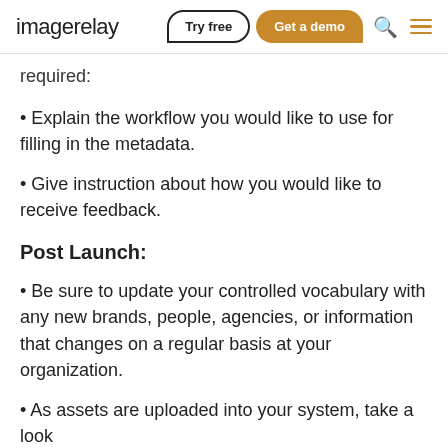imagerelay | Try free | Get a demo
required:
Explain the workflow you would like to use for filling in the metadata.
Give instruction about how you would like to receive feedback.
Post Launch:
Be sure to update your controlled vocabulary with any new brands, people, agencies, or information that changes on a regular basis at your organization.
As assets are uploaded into your system, take a look